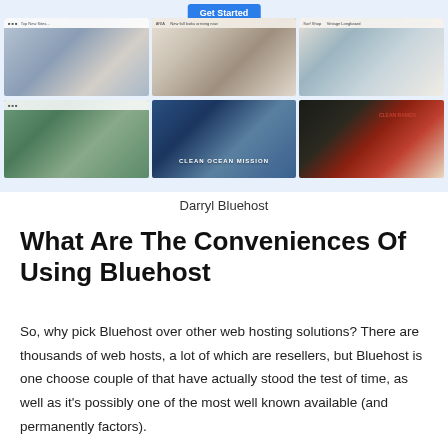[Figure (screenshot): A collage of six website screenshots arranged in a 3x2 grid on a light blue background, with a blue 'Get Started' button at the top. The screenshots show various website templates including a travel blog, a fashion/hat store, a surfboard shop, an art/gallery site, an ocean conservation site, and a Japanese food restaurant site.]
Darryl Bluehost
What Are The Conveniences Of Using Bluehost
So, why pick Bluehost over other web hosting solutions? There are thousands of web hosts, a lot of which are resellers, but Bluehost is one choose couple of that have actually stood the test of time, as well as it's possibly one of the most well known available (and permanently factors).